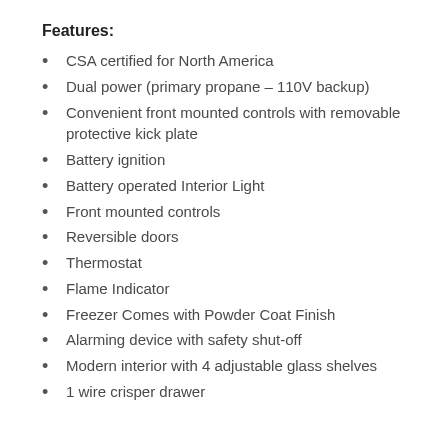Features:
CSA certified for North America
Dual power (primary propane – 110V backup)
Convenient front mounted controls with removable protective kick plate
Battery ignition
Battery operated Interior Light
Front mounted controls
Reversible doors
Thermostat
Flame Indicator
Freezer Comes with Powder Coat Finish
Alarming device with safety shut-off
Modern interior with 4 adjustable glass shelves
1 wire crisper drawer